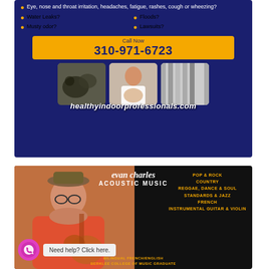[Figure (photo): Healthy Indoor Professionals advertisement showing mold-related health symptoms, phone number 310-971-6723, and three photos of mold, a professional woman, and mold texture, with website healthyindoorprofessionals.com]
[Figure (photo): Evan Charles Acoustic Music advertisement showing a man playing guitar, listing genres: Pop & Rock, Country, Reggae Dance & Soul, Standards & Jazz, French, Instrumental Guitar & Violin, with bilingual French/English and Berklee College of Music Graduate text, and a WhatsApp help bubble]